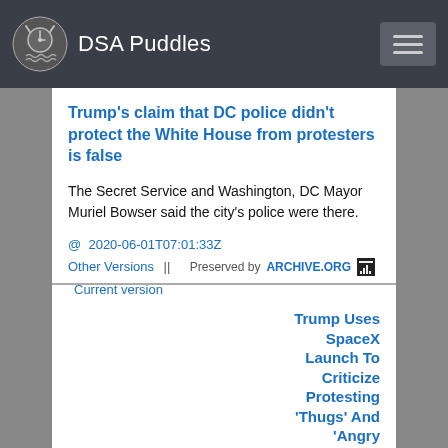DSA Puddles
Trump's claim that DC police didn't protect the White House from protesters is false
The Secret Service and Washington, DC Mayor Muriel Bowser said the city's police were there.
@  2020-06-01T07:01:33Z
Other Versions  ||      Preserved by ARCHIVE.ORG  [icon]  Current version
Trump Uses SpaceX Launch To Criticize Protesting 'Thugs' And 'Angry Mobs'
He threatened protesters, saying that "mob violence" would be stopped "cold."